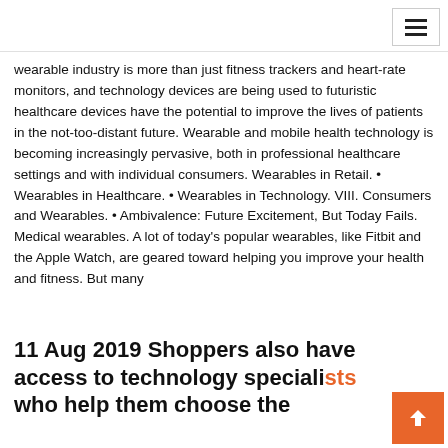wearable industry is more than just fitness trackers and heart-rate monitors, and technology devices are being used to futuristic healthcare devices have the potential to improve the lives of patients in the not-too-distant future. Wearable and mobile health technology is becoming increasingly pervasive, both in professional healthcare settings and with individual consumers. Wearables in Retail. • Wearables in Healthcare. • Wearables in Technology. VIII. Consumers and Wearables. • Ambivalence: Future Excitement, But Today Fails. Medical wearables. A lot of today's popular wearables, like Fitbit and the Apple Watch, are geared toward helping you improve your health and fitness. But many
11 Aug 2019 Shoppers also have access to technology specialists who help them choose the